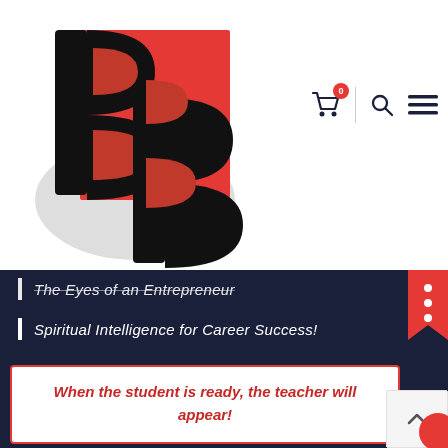[Figure (logo): BB logo with large bold black letters B and B on a red square background with drop shadow]
[Figure (screenshot): Navigation icons: shopping cart with badge showing 0, vertical divider, search icon, hamburger menu icon]
The Eyes of an Entrepreneur
Spiritual Intelligence for Career Success!
When the student is ready, the teacher will appear!